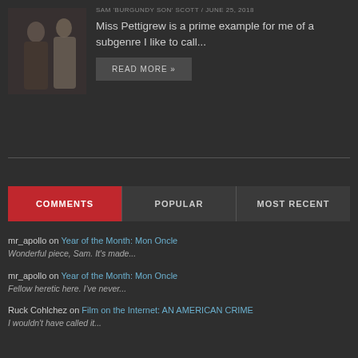SAM 'BURGUNDY SON' SCOTT / JUNE 25, 2018
Miss Pettigrew is a prime example for me of a subgenre I like to call...
READ MORE »
[Figure (photo): Two figures in period costume, dark tones]
COMMENTS | POPULAR | MOST RECENT
mr_apollo on Year of the Month: Mon Oncle
Wonderful piece, Sam. It's made...
mr_apollo on Year of the Month: Mon Oncle
Fellow heretic here. I've never...
Ruck Cohlchez on Film on the Internet: AN AMERICAN CRIME
I wouldn't have called it...